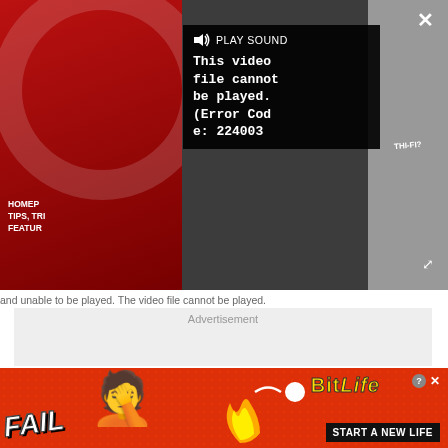[Figure (screenshot): Video player with error overlay showing 'PLAY SOUND' and 'This video file cannot be played. (Error Code: 224003)' message on dark background with partial thumbnail visible]
and unable to be played. The video file cannot be played.
Advertisement
[Figure (screenshot): BitLife game advertisement banner with 'FAIL' text, animated character, flames, logo and 'START A NEW LIFE' button]